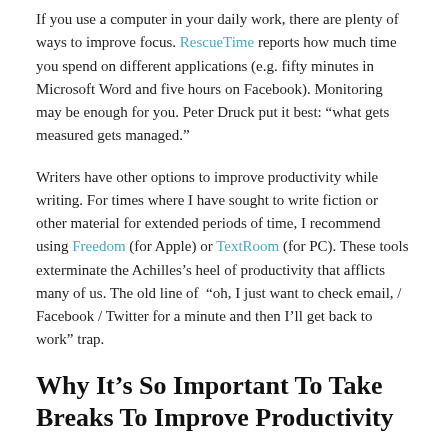If you use a computer in your daily work, there are plenty of ways to improve focus. RescueTime reports how much time you spend on different applications (e.g. fifty minutes in Microsoft Word and five hours on Facebook). Monitoring may be enough for you. Peter Druck put it best: “what gets measured gets managed.”
Writers have other options to improve productivity while writing. For times where I have sought to write fiction or other material for extended periods of time, I recommend using Freedom (for Apple) or TextRoom (for PC). These tools exterminate the Achilles’s heel of productivity that afflicts many of us. The old line of “oh, I just want to check email, / Facebook / Twitter for a minute and then I’ll get back to work” trap.
Why It’s So Important To Take Breaks To Improve Productivity